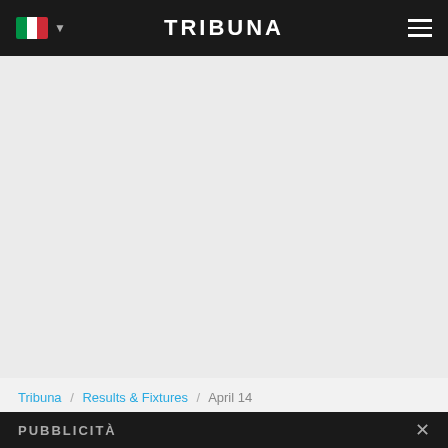TRIBUNA
[Figure (other): Gray advertisement placeholder area]
Tribuna / Results & Fixtures / April 14
14 Aprile 2022 Risultati Di Calcio
PRINCIPALE  LIVE 1
PUBBLICITÀ